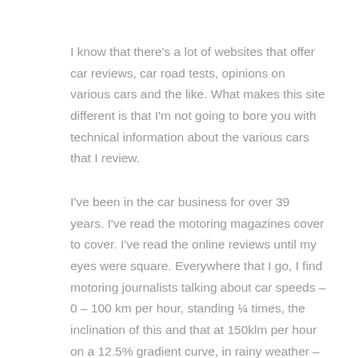I know that there's a lot of websites that offer car reviews, car road tests, opinions on various cars and the like. What makes this site different is that I'm not going to bore you with technical information about the various cars that I review.
I've been in the car business for over 39 years. I've read the motoring magazines cover to cover. I've read the online reviews until my eyes were square. Everywhere that I go, I find motoring journalists talking about car speeds – 0 – 100 km per hour, standing ¼ times, the inclination of this and that at 150klm per hour on a 12.5% gradient curve, in rainy weather – and other stuff that bores me no end.